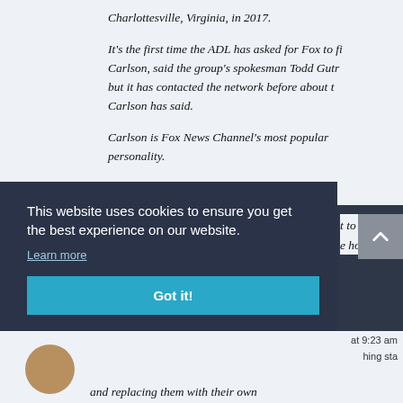Charlottesville, Virginia, in 2017.
It's the first time the ADL has asked for Fox to fi Carlson, said the group's spokesman Todd Gutr but it has contacted the network before about t Carlson has said.
Carlson is Fox News Channel's most popular personality.
t to puni e horrible
This website uses cookies to ensure you get the best experience on our website.
Learn more
Got it!
at 9:23 am
hing sta
and replacing them with their own